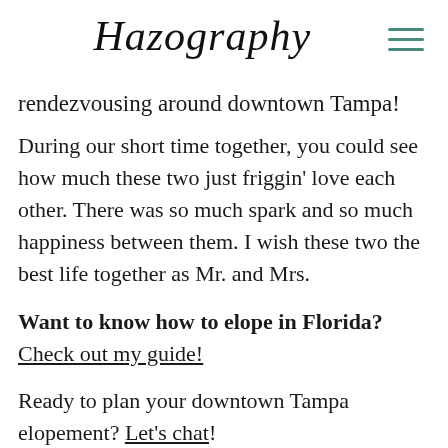Hazography
rendezvousing around downtown Tampa!
During our short time together, you could see how much these two just friggin' love each other. There was so much spark and so much happiness between them. I wish these two the best life together as Mr. and Mrs.
Want to know how to elope in Florida? Check out my guide!
Ready to plan your downtown Tampa elopement? Let's chat!